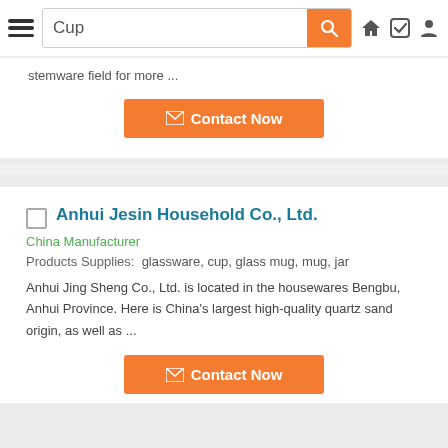Cup
stemware field for more ...
Contact Now
Anhui Jesin Household Co., Ltd.
China Manufacturer
Products Supplies: glassware, cup, glass mug, mug, jar
Anhui Jing Sheng Co., Ltd. is located in the housewares Bengbu, Anhui Province. Here is China's largest high-quality quartz sand origin, as well as ...
Contact Now